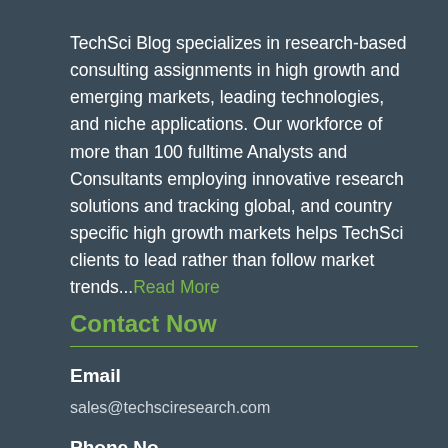TechSci Blog specializes in research-based consulting assignments in high growth and emerging markets, leading technologies, and niche applications. Our workforce of more than 100 fulltime Analysts and Consultants employing innovative research solutions and tracking global, and country specific high growth markets helps TechSci clients to lead rather than follow market trends...Read More
Contact Now
Email
sales@techsciresearch.com
Phone No.